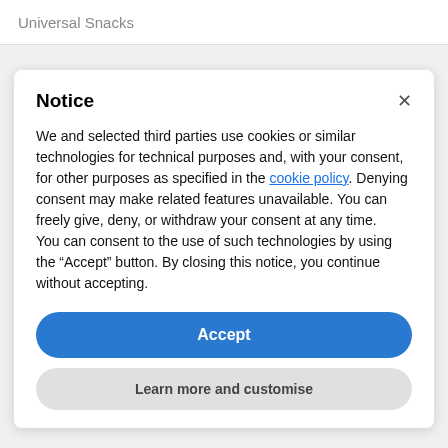Universal Snacks
Notice
We and selected third parties use cookies or similar technologies for technical purposes and, with your consent, for other purposes as specified in the cookie policy. Denying consent may make related features unavailable. You can freely give, deny, or withdraw your consent at any time.
You can consent to the use of such technologies by using the “Accept” button. By closing this notice, you continue without accepting.
Accept
Learn more and customise